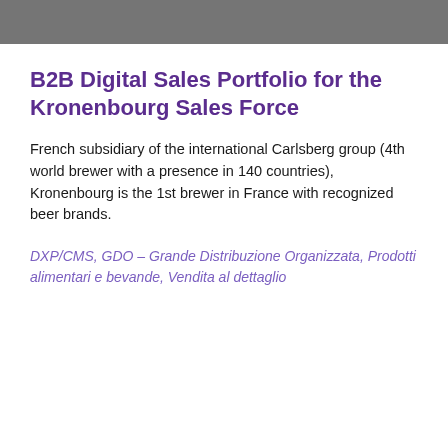B2B Digital Sales Portfolio for the Kronenbourg Sales Force
French subsidiary of the international Carlsberg group (4th world brewer with a presence in 140 countries), Kronenbourg is the 1st brewer in France with recognized beer brands.
DXP/CMS, GDO – Grande Distribuzione Organizzata, Prodotti alimentari e bevande, Vendita al dettaglio